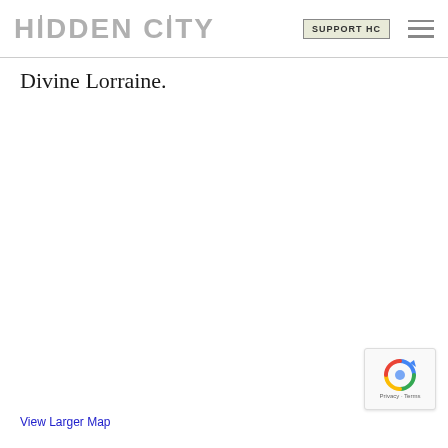HIDDEN CITY | SUPPORT HC
Divine Lorraine.
View Larger Map